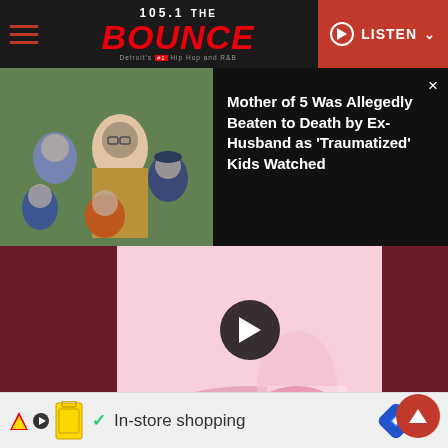105.1 THE BOUNCE — Detroit's #1 Hip Hop and R&B — LISTEN
[Figure (photo): News banner: photo of a woman with 5 children with blurred faces outdoors]
Mother of 5 Was Allegedly Beaten to Death by Ex-Husband as 'Traumatized' Kids Watched
[Figure (screenshot): YouTube-style video embed showing Nicki Minaj Pink Friday album cover with play button overlay. Album label reads: NICKI MINAJ Pink FRIDAY]
Off of 'Pink Friday,' Nicki Minaj landed her place in the industry and stuck it for time, and the...
[Figure (infographic): Advertisement bar: Lidl logo with grocery icons, checkmark, 'In-store shopping' text, and a blue navigation icon]